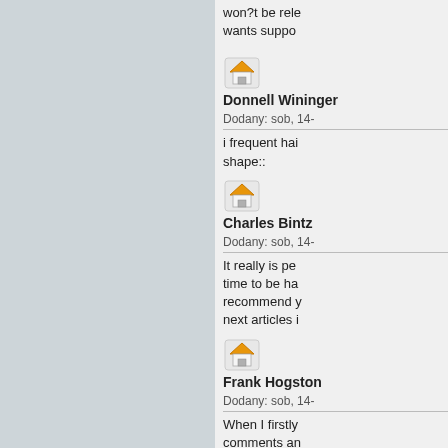won?t be rel... wants suppo...
[Figure (illustration): Small house/home icon avatar]
Donnell Wininger
Dodany: sob, 14-
i frequent hai... shape::
[Figure (illustration): Small house/home icon avatar]
Charles Bintz
Dodany: sob, 14-
It really is pe... time to be ha... recommend y... next articles i...
[Figure (illustration): Small house/home icon avatar]
Frank Hogston
Dodany: sob, 14-
When I firstly... comments an... is newly adde... there be by a... Many thanks...
[Figure (illustration): Small house/home icon avatar]
Portia Mattson
Dodany: sob, 14-
Obviously I li... spelling on qu... spelling prob...